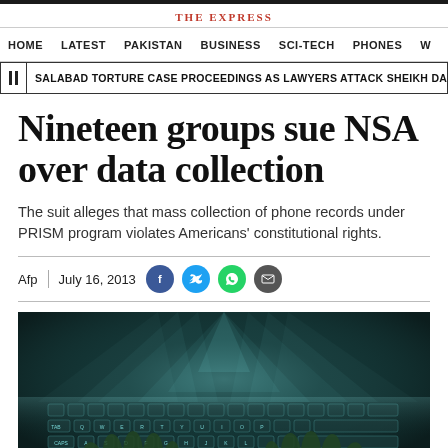THE EXPRESS
HOME  LATEST  PAKISTAN  BUSINESS  SCI-TECH  PHONES  W
SALABAD TORTURE CASE PROCEEDINGS AS LAWYERS ATTACK SHEIKH DANISH
Nineteen groups sue NSA over data collection
The suit alleges that mass collection of phone records under PRISM program violates Americans' constitutional rights.
Afp  |  July 16, 2013
[Figure (photo): Hands typing on a glowing keyboard with digital light beams in the background, evoking cybersecurity/surveillance themes]